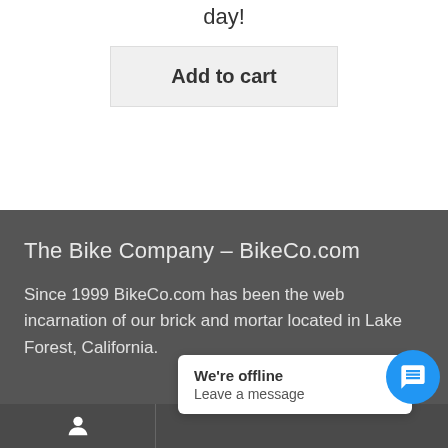day!
Add to cart
The Bike Company – BikeCo.com
Since 1999 BikeCo.com has been the web incarnation of our brick and mortar located in Lake Forest, California.
We're offline
Leave a message
[Figure (screenshot): User account icon in bottom navigation bar]
[Figure (screenshot): Blue chat bubble button with message icon]